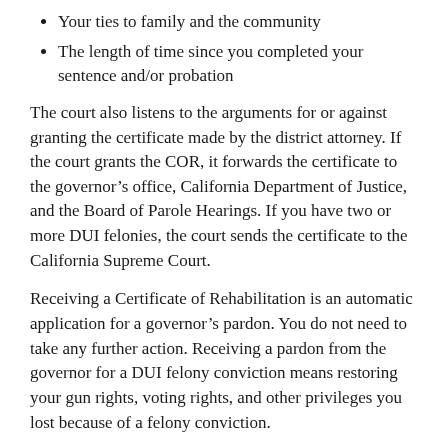Your ties to family and the community
The length of time since you completed your sentence and/or probation
The court also listens to the arguments for or against granting the certificate made by the district attorney. If the court grants the COR, it forwards the certificate to the governor’s office, California Department of Justice, and the Board of Parole Hearings. If you have two or more DUI felonies, the court sends the certificate to the California Supreme Court.
Receiving a Certificate of Rehabilitation is an automatic application for a governor’s pardon. You do not need to take any further action. Receiving a pardon from the governor for a DUI felony conviction means restoring your gun rights, voting rights, and other privileges you lost because of a felony conviction.
If the court denies your application for a Certificate of Rehabilitation, you can appeal the decision. However, the court charges a fee to file an appeal. So most people wait and try again at a later date.